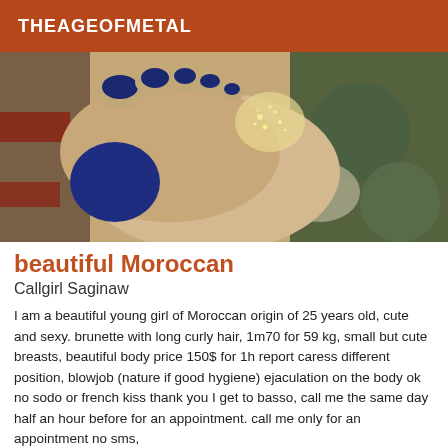THEAGEOFMETAL
[Figure (photo): Close-up photo of feet with blue nail polish on a patterned rug background, with glitter on the foot. Timestamp visible on right side reading 11/8/2018.]
beautiful Moroccan
Callgirl Saginaw
I am a beautiful young girl of Moroccan origin of 25 years old, cute and sexy. brunette with long curly hair, 1m70 for 59 kg, small but cute breasts, beautiful body price 150$ for 1h report caress different position, blowjob (nature if good hygiene) ejaculation on the body ok no sodo or french kiss thank you I get to basso, call me the same day half an hour before for an appointment. call me only for an appointment no sms,